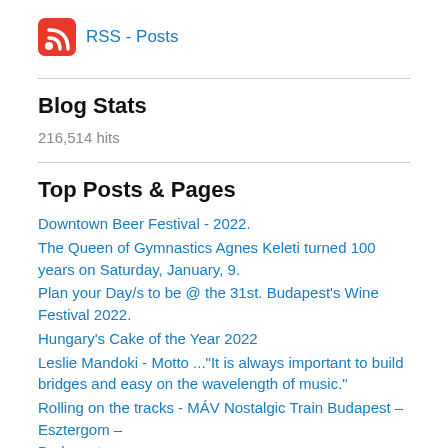[Figure (logo): Red RSS feed icon square with white wifi/signal symbol]
RSS - Posts
Blog Stats
216,514 hits
Top Posts & Pages
Downtown Beer Festival - 2022.
The Queen of Gymnastics Agnes Keleti turned 100 years on Saturday, January, 9.
Plan your Day/s to be @ the 31st. Budapest's Wine Festival 2022.
Hungary's Cake of the Year 2022
Leslie Mandoki - Motto ..."It is always important to build bridges and easy on the wavelength of music."
Rolling on the tracks - MÁV Nostalgic Train Budapest – Esztergom – Budapest